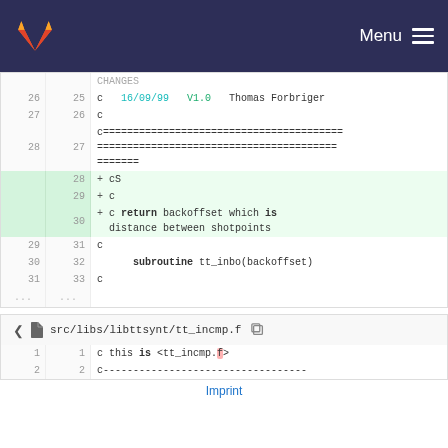GitLab — Menu
CHANGES
26  25    c  16/09/99  V1.0  Thomas Forbriger
27  26    c
28  27    c============================================================
        28  + cS
        29  + c
        30  + c return backoffset which is distance between shotpoints
29  31    c
30  32         subroutine tt_inbo(backoffset)
31  33    c
src/libs/libttsynt/tt_incmp.f
1  1  c this is <tt_incmp.f>
2  2  c---...
Imprint